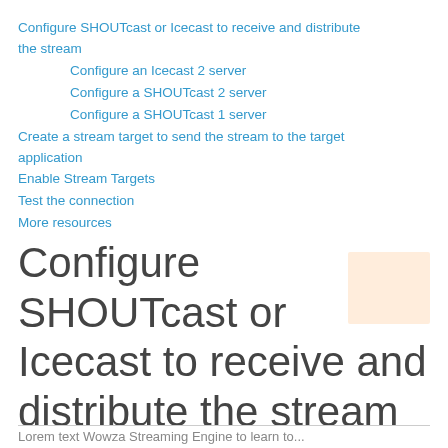Configure SHOUTcast or Icecast to receive and distribute the stream
Configure an Icecast 2 server
Configure a SHOUTcast 2 server
Configure a SHOUTcast 1 server
Create a stream target to send the stream to the target application
Enable Stream Targets
Test the connection
More resources
Configure SHOUTcast or Icecast to receive and distribute the stream
Lorem text Wowza Streaming Engine to learn to...